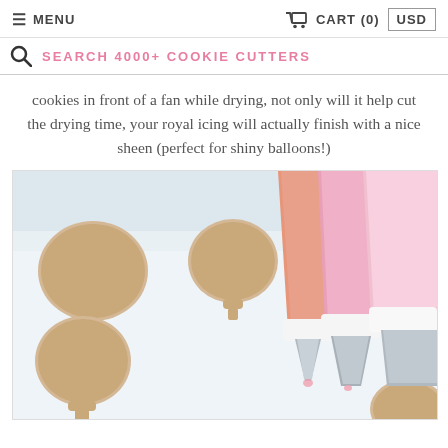≡ MENU   🛒 CART (0)   USD
SEARCH 4000+ COOKIE CUTTERS
cookies in front of a fan while drying, not only will it help cut the drying time, your royal icing will actually finish with a nice sheen (perfect for shiny balloons!)
[Figure (photo): Balloon-shaped and round cookie cutouts on a white surface next to three pink frosting piping bags with metal tips]